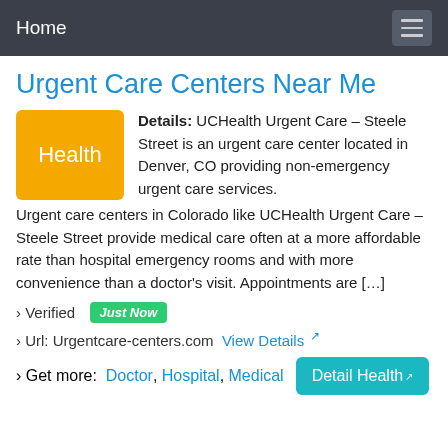Home
Urgent Care Centers Near Me
Details: UCHealth Urgent Care – Steele Street is an urgent care center located in Denver, CO providing non-emergency urgent care services. Urgent care centers in Colorado like UCHealth Urgent Care – Steele Street provide medical care often at a more affordable rate than hospital emergency rooms and with more convenience than a doctor's visit. Appointments are […]
› Verified  Just Now
› Url: Urgentcare-centers.com  View Details
› Get more:  Doctor,  Hospital,  Medical